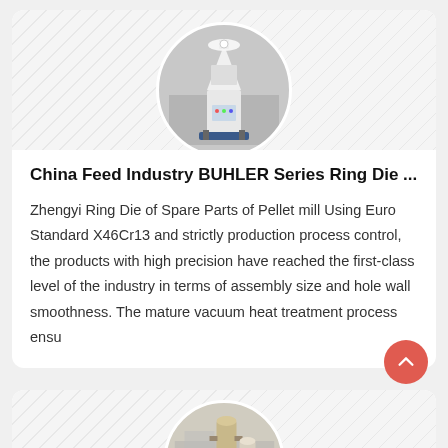[Figure (photo): Circular cropped photo of a white industrial pellet mill machine in a factory setting, shown against a diagonal striped background]
China Feed Industry BUHLER Series Ring Die ...
Zhengyi Ring Die of Spare Parts of Pellet mill Using Euro Standard X46Cr13 and strictly production process control, the products with high precision have reached the first-class level of the industry in terms of assembly size and hole wall smoothness. The mature vacuum heat treatment process ensu
[Figure (photo): Circular cropped photo of an industrial machine/equipment in a factory or outdoor industrial setting, partially visible at bottom of page]